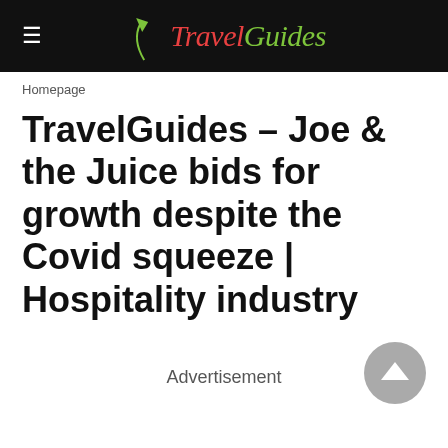TravelGuides
Homepage
TravelGuides – Joe & the Juice bids for growth despite the Covid squeeze | Hospitality industry
Advertisement